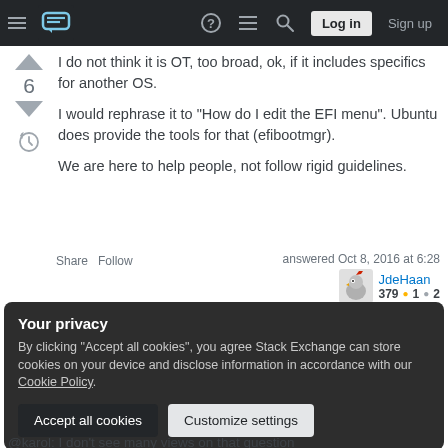Stack Exchange navigation header with hamburger menu, logo, help, chat, search icons, Log in and Sign up buttons
I do not think it is OT, too broad, ok, if it includes specifics for another OS.
I would rephrase it to "How do I edit the EFI menu". Ubuntu does provide the tools for that (efibootmgr).
We are here to help people, not follow rigid guidelines.
Share  Follow    answered Oct 8, 2016 at 6:28  JdeHaan  379 ●1 ●2
Your privacy
By clicking "Accept all cookies", you agree Stack Exchange can store cookies on your device and disclose information in accordance with our Cookie Policy.
@karol: I don't see many views on that question